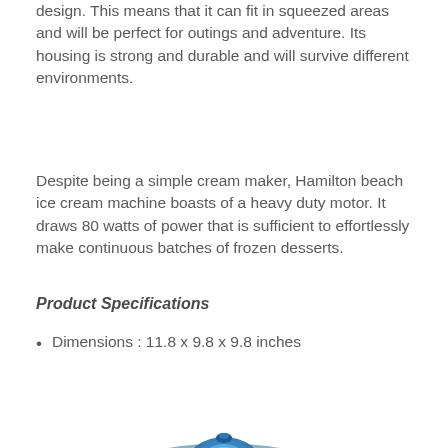design. This means that it can fit in squeezed areas and will be perfect for outings and adventure. Its housing is strong and durable and will survive different environments.
Despite being a simple cream maker, Hamilton beach ice cream machine boasts of a heavy duty motor. It draws 80 watts of power that is sufficient to effortlessly make continuous batches of frozen desserts.
Product Specifications
Dimensions : 11.8 x 9.8 x 9.8 inches
[Figure (photo): Photo of a Hamilton Beach ice cream maker machine with a transparent blue lid, viewed from above at an angle, showing the interior mixing bowl and components.]